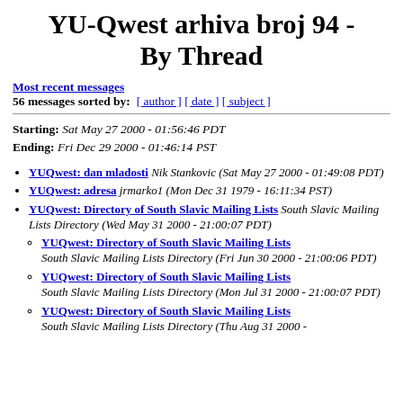YU-Qwest arhiva broj 94 - By Thread
Most recent messages
56 messages sorted by: [ author ] [ date ] [ subject ]
Starting: Sat May 27 2000 - 01:56:46 PDT
Ending: Fri Dec 29 2000 - 01:46:14 PST
YUQwest: dan mladosti Nik Stankovic (Sat May 27 2000 - 01:49:08 PDT)
YUQwest: adresa jrmarko1 (Mon Dec 31 1979 - 16:11:34 PST)
YUQwest: Directory of South Slavic Mailing Lists South Slavic Mailing Lists Directory (Wed May 31 2000 - 21:00:07 PDT)
YUQwest: Directory of South Slavic Mailing Lists South Slavic Mailing Lists Directory (Fri Jun 30 2000 - 21:00:06 PDT)
YUQwest: Directory of South Slavic Mailing Lists South Slavic Mailing Lists Directory (Mon Jul 31 2000 - 21:00:07 PDT)
YUQwest: Directory of South Slavic Mailing Lists South Slavic Mailing Lists Directory (Thu Aug 31 2000 -